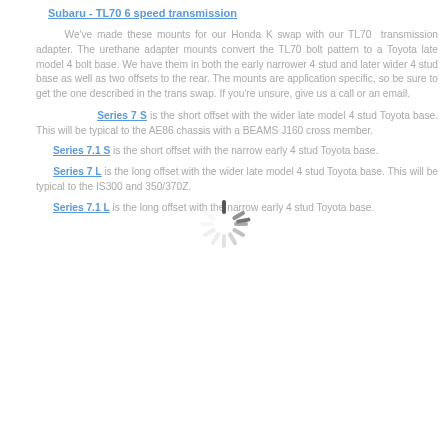Subaru - TL70 6 speed transmission
We've made these mounts for our Honda K swap with our TL70 transmission adapter. The urethane adapter mounts convert the TL70 bolt pattern to a Toyota late model 4 bolt base. We have them in both the early narrower 4 stud and later wider 4 stud base as well as two offsets to the rear. The mounts are application specific, so be sure to get the one described in the trans swap. If you're unsure, give us a call or an email.
Series 7 S is the short offset with the wider late model 4 stud Toyota base. This will be typical to the AE86 chassis with a BEAMS J160 cross member.
Series 7.1 S is the short offset with the narrow early 4 stud Toyota base.
Series 7 L is the long offset with the wider late model 4 stud Toyota base. This will be typical to the IS300 and 350/370Z.
Series 7.1 L is the long offset with the narrow early 4 stud Toyota base.
[Figure (other): Loading spinner / activity indicator overlay]